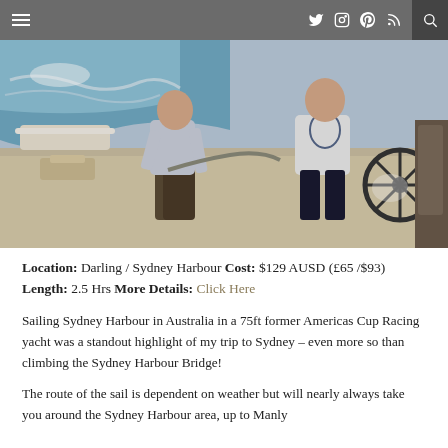Navigation bar with hamburger menu, social icons (Twitter, Instagram, Pinterest, RSS), and search
[Figure (photo): Two people on the deck of a sailing yacht on Sydney Harbour, ocean water visible in background]
Location: Darling / Sydney Harbour Cost: $129 AUSD (£65 /$93) Length: 2.5 Hrs More Details: Click Here
Sailing Sydney Harbour in Australia in a 75ft former Americas Cup Racing yacht was a standout highlight of my trip to Sydney – even more so than climbing the Sydney Harbour Bridge!
The route of the sail is dependent on weather but will nearly always take you around the Sydney Harbour area, up to Manly